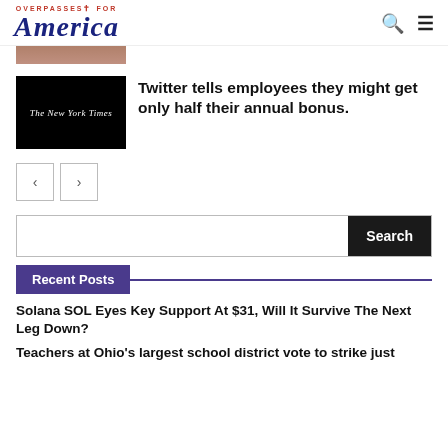OVERPASSES FOR America
[Figure (screenshot): Partial image visible at top (cropped face/photo)]
[Figure (screenshot): Black thumbnail with New York Times logo text]
Twitter tells employees they might get only half their annual bonus.
[Figure (other): Left and right navigation arrow buttons]
[Figure (other): Search bar with Search button]
Recent Posts
Solana SOL Eyes Key Support At $31, Will It Survive The Next Leg Down?
Teachers at Ohio's largest school district vote to strike just